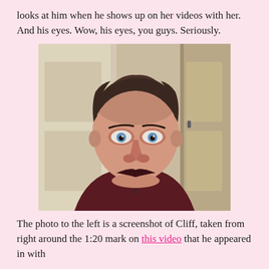looks at him when he shows up on her videos with her. And his eyes. Wow, his eyes, you guys. Seriously.
[Figure (photo): Screenshot of a young man named Cliff with blue eyes, short dark hair, wearing a dark red/maroon top, looking at the camera. Background shows a light-colored room.]
The photo to the left is a screenshot of Cliff, taken from right around the 1:20 mark on this video that he appeared in with